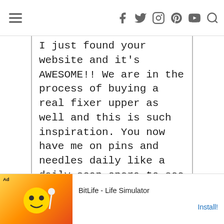[hamburger menu] [social icons: facebook, twitter, instagram, pinterest, youtube, search]
I just found your website and it's AWESOME!! We are in the process of buying a real fixer upper as well and this is such inspiration. You now have me on pins and needles daily like a daily soap opera to see what you else you have marked off your list.
[Figure (other): Advertisement banner for BitLife - Life Simulator app with Install button]